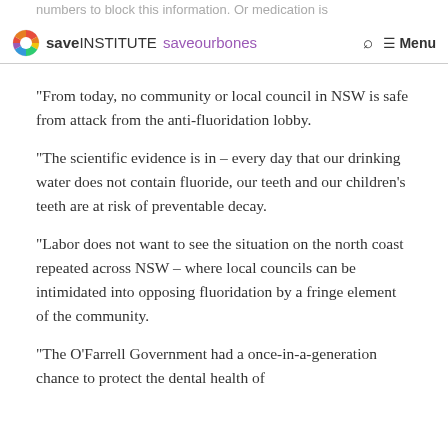numbers to block this information. Or medication is
saveINSTITUTE saveourbones  Menu
“From today, no community or local council in NSW is safe from attack from the anti-fluoridation lobby.
“The scientific evidence is in – every day that our drinking water does not contain fluoride, our teeth and our children’s teeth are at risk of preventable decay.
“Labor does not want to see the situation on the north coast repeated across NSW – where local councils can be intimidated into opposing fluoridation by a fringe element of the community.
“The O’Farrell Government had a once-in-a-generation chance to protect the dental health of